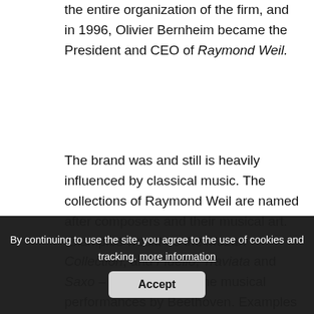the entire organization of the firm, and in 1996, Olivier Bernheim became the President and CEO of Raymond Weil.
The brand was and still is heavily influenced by classical music. The collections of Raymond Weil are named after composers and their musical art. Examples would be the Mozart Collection, and Fidelio, Traviata and Saxo – named after some musical performances by Beethoven. Examples of other collections are Toccata, Fantasia and Otello.
In the 1990s, Raymond Weil launched new collections: the Parsifal Collection, the Tango Collection and the Tradition Collection.
Below: Raymond Weil Parsifal.
[Figure (photo): Photo of Raymond Weil Parsifal watch, partially visible at bottom of page, dark background.]